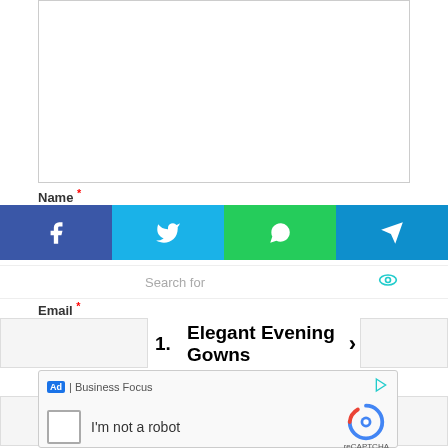[Figure (screenshot): White input box area at top of page (form field)]
Name *
[Figure (screenshot): Social share bar with Facebook, Twitter, WhatsApp, and Telegram buttons]
Search for
Email *
1. Elegant Evening Gowns
Website
2. Value Of My Used Car
Save m... ne next time I com...
3. Small Kitchen Designs
[Figure (screenshot): reCAPTCHA widget with checkbox and 'I'm not a robot' text, with Ad | Business Focus label above]